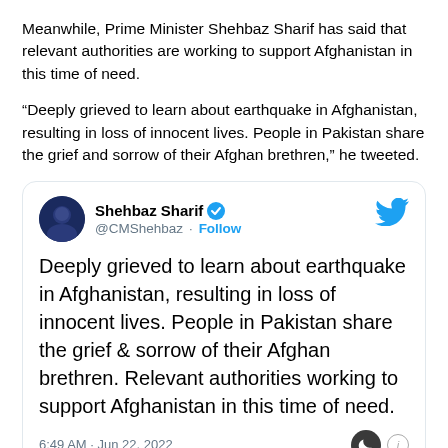Meanwhile, Prime Minister Shehbaz Sharif has said that relevant authorities are working to support Afghanistan in this time of need.
“Deeply grieved to learn about earthquake in Afghanistan, resulting in loss of innocent lives. People in Pakistan share the grief and sorrow of their Afghan brethren,” he tweeted.
[Figure (screenshot): Embedded tweet from @CMShehbaz (Shehbaz Sharif, verified account) reading: 'Deeply grieved to learn about earthquake in Afghanistan, resulting in loss of innocent lives. People in Pakistan share the grief & sorrow of their Afghan brethren. Relevant authorities working to support Afghanistan in this time of need.' Posted at 6:49 AM · Jun 22, 2022.]